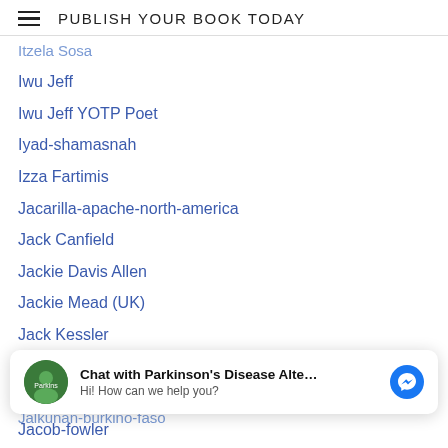PUBLISH YOUR BOOK TODAY
Itzela-Sosa
Iwu Jeff
Iwu Jeff YOTP Poet
Iyad-shamasnah
Izza Fartimis
Jacarilla-apache-north-america
Jack Canfield
Jackie Davis Allen
Jackie Mead (UK)
Jack Kessler
Jack Maze
Jacob-edwards
Jacob-fowler
Jacob-nordby
[Figure (screenshot): Chat widget: Chat with Parkinson's Disease Alte... Hi! How can we help you?]
Jainists
Jalkunan-burkino-faso